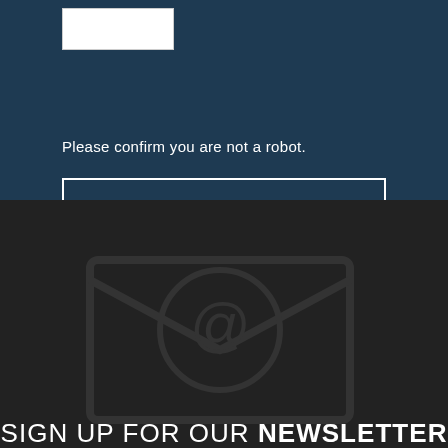[Figure (screenshot): White checkbox/captcha widget area at top]
Please confirm you are not a robot.
SUBMIT MY REQUEST
SIGN UP FOR OUR NEWSLETTER
Name
Email Address
Please confirm you are not a robot.